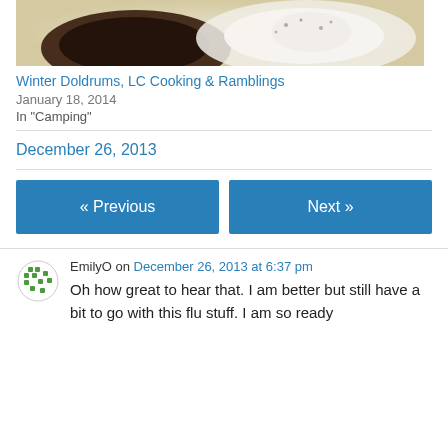[Figure (photo): Food photo showing dark grilled meat and white mashed potatoes on a white plate]
Winter Doldrums, LC Cooking & Ramblings
January 18, 2014
In "Camping"
December 26, 2013
« Previous
Next »
EmilyO on December 26, 2013 at 6:37 pm
Oh how great to hear that. I am better but still have a bit to go with this flu stuff. I am so ready